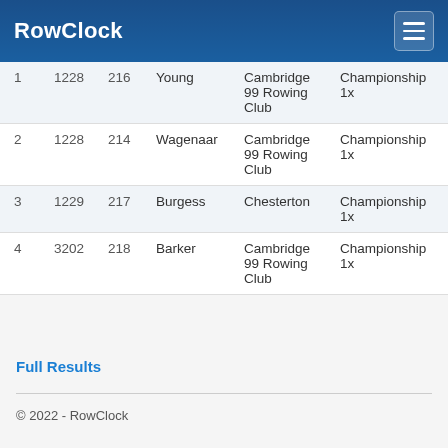RowClock
| # | ID | Num | Name | Club | Category |
| --- | --- | --- | --- | --- | --- |
| 1 | 1228 | 216 | Young | Cambridge 99 Rowing Club | Championship 1x |
| 2 | 1228 | 214 | Wagenaar | Cambridge 99 Rowing Club | Championship 1x |
| 3 | 1229 | 217 | Burgess | Chesterton | Championship 1x |
| 4 | 3202 | 218 | Barker | Cambridge 99 Rowing Club | Championship 1x |
Full Results
© 2022 - RowClock